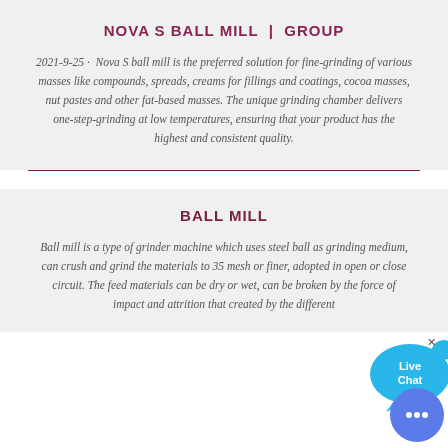NOVA S BALL MILL | GROUP
2021-9-25 · Nova S ball mill is the preferred solution for fine-grinding of various masses like compounds, spreads, creams for fillings and coatings, cocoa masses, nut pastes and other fat-based masses. The unique grinding chamber delivers one-step-grinding at low temperatures, ensuring that your product has the highest and consistent quality.
BALL MILL
Ball mill is a type of grinder machine which uses steel ball as grinding medium, can crush and grind the materials to 35 mesh or finer, adopted in open or close circuit. The feed materials can be dry or wet, can be broken by the force of impact and attrition that created by the different sizes balls.